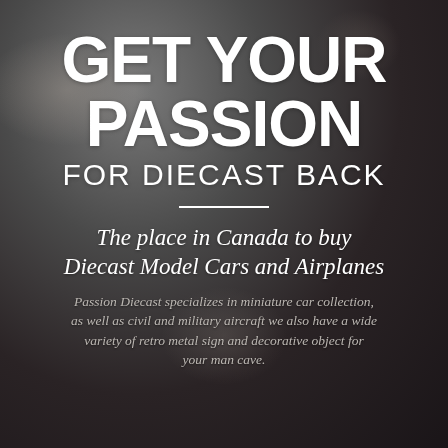GET YOUR PASSION FOR DIECAST BACK
The place in Canada to buy Diecast Model Cars and Airplanes
Passion Diecast specializes in miniature car collection, as well as civil and military aircraft we also have a wide variety of retro metal sign and decorative object for your man cave.